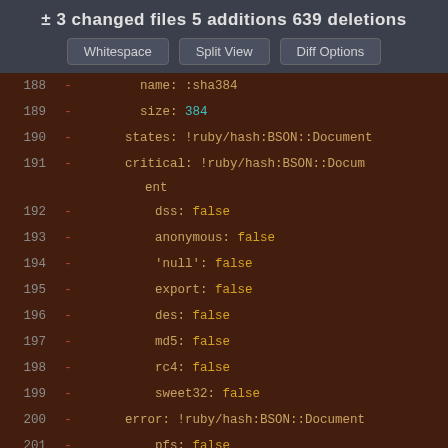± 3 changed files 5 additions 639 deletions
[Figure (screenshot): Buttons: Whitespace, Split View, Diff Options]
188  -  name: :sha384
189  -  size: 384
190  -  states: !ruby/hash:BSON::Document
191  -  critical: !ruby/hash:BSON::Document
          ent
192  -  dss: false
193  -  anonymous: false
194  -  'null': false
195  -  export: false
196  -  des: false
197  -  md5: false
198  -  rc4: false
199  -  sweet32: false
200  -  error: !ruby/hash:BSON::Document
201  -  pfs: false
202  -  warning: !ruby/hash:BSON::Docume
          nt
203  -  dhe: true